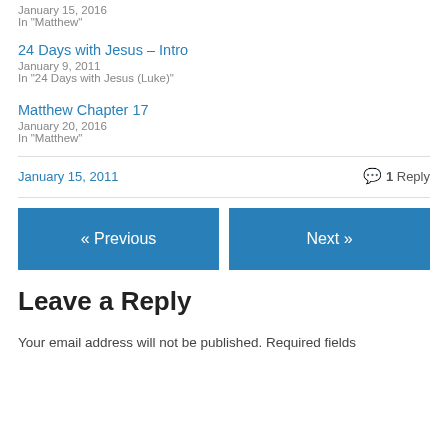January 15, 2016
In "Matthew"
24 Days with Jesus – Intro
January 9, 2011
In "24 Days with Jesus (Luke)"
Matthew Chapter 17
January 20, 2016
In "Matthew"
January 15, 2011
1 Reply
« Previous
Next »
Leave a Reply
Your email address will not be published. Required fields